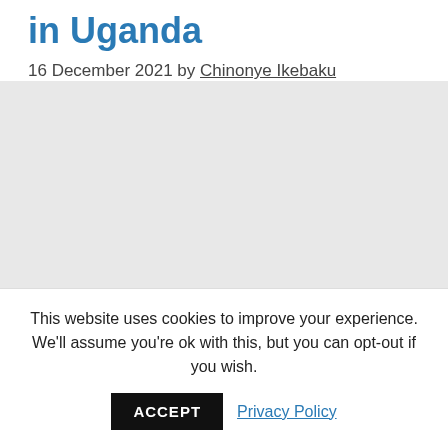in Uganda
16 December 2021 by Chinonye Ikebaku
[Figure (photo): Placeholder image area for Uganda article photo]
Uganda is called the Pearl of Africa. It is full of
This website uses cookies to improve your experience. We'll assume you're ok with this, but you can opt-out if you wish.
ACCEPT   Privacy Policy